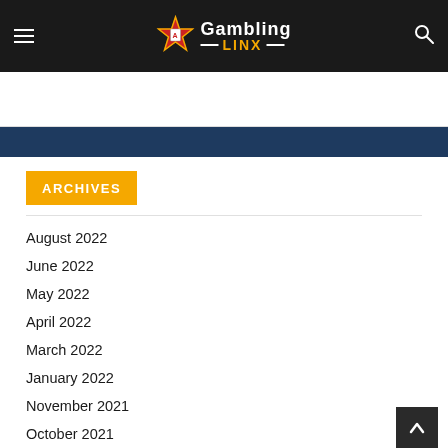Gambling LINX
ARCHIVES
August 2022
June 2022
May 2022
April 2022
March 2022
January 2022
November 2021
October 2021
September 2021